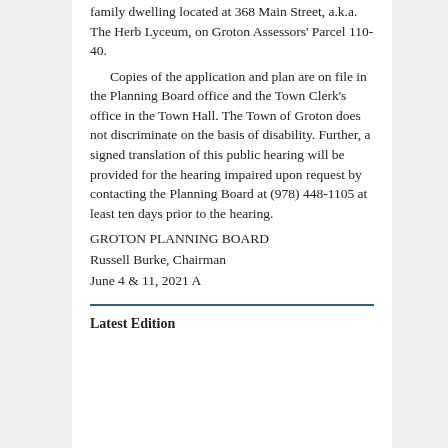family dwelling located at 368 Main Street, a.k.a. The Herb Lyceum, on Groton Assessors' Parcel 110-40.
Copies of the application and plan are on file in the Planning Board office and the Town Clerk's office in the Town Hall. The Town of Groton does not discriminate on the basis of disability. Further, a signed translation of this public hearing will be provided for the hearing impaired upon request by contacting the Planning Board at (978) 448-1105 at least ten days prior to the hearing.
GROTON PLANNING BOARD
Russell Burke, Chairman
June 4 & 11, 2021 A
Latest Edition